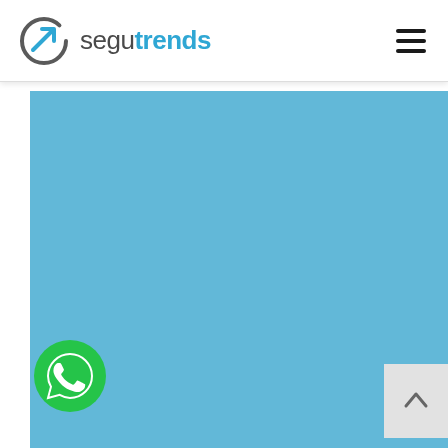[Figure (logo): Segutrends logo with circular arrow icon and brand name 'segutrends' in grey and blue]
[Figure (infographic): Light blue banner/hero section filling most of the page]
[Figure (illustration): Green circular WhatsApp button icon in bottom left corner]
[Figure (illustration): Light grey back-to-top button with upward chevron in bottom right corner]